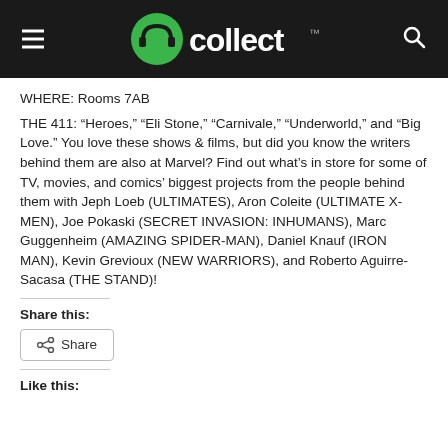GoCollect
WHERE: Rooms 7AB
THE 411: “Heroes,” “Eli Stone,” “Carnivale,” “Underworld,” and “Big Love.” You love these shows & films, but did you know the writers behind them are also at Marvel? Find out what’s in store for some of TV, movies, and comics’ biggest projects from the people behind them with Jeph Loeb (ULTIMATES), Aron Coleite (ULTIMATE X-MEN), Joe Pokaski (SECRET INVASION: INHUMANS), Marc Guggenheim (AMAZING SPIDER-MAN), Daniel Knauf (IRON MAN), Kevin Grevioux (NEW WARRIORS), and Roberto Aguirre-Sacasa (THE STAND)!
Share this:
Share
Like this: